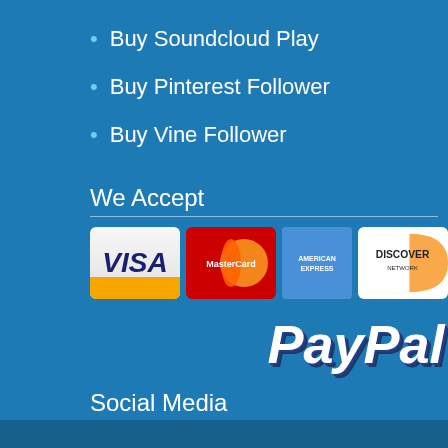Buy Soundcloud Play
Buy Pinterest Follower
Buy Vine Follower
We Accept
[Figure (logo): Payment method logos: Visa, MasterCard, American Express, Discover, PayPal]
Social Media
[Figure (infographic): Social media icon circles: Facebook, Twitter, LinkedIn, Google+, Pinterest, Instagram]